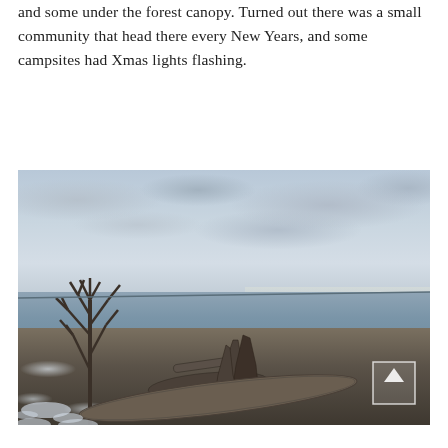and some under the forest canopy. Turned out there was a small community that head there every New Years, and some campsites had Xmas lights flashing.
[Figure (photo): Outdoor coastal scene in winter. A beach with driftwood logs and snow patches on the ground. A bare leafless tree stands to the left. In the background is a calm sea/bay with a distant shore visible. The sky is overcast with grey-blue clouds. A scroll-up navigation arrow button is visible in the lower right of the image.]